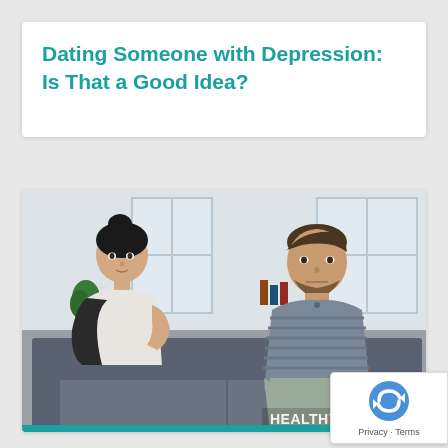Dating Someone with Depression: Is That a Good Idea?
[Figure (photo): A man and a woman sitting apart on a gray sofa in a modern living room, not looking at each other, suggesting relationship tension. A watermark reads 'HEALTHYPL...' in the bottom right corner.]